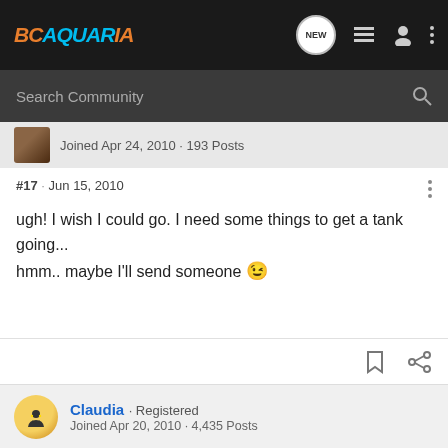BCAQUARIA — navigation bar with NEW button, list icon, user icon, menu dots
Search Community
Joined Apr 24, 2010 · 193 Posts
#17 · Jun 15, 2010
ugh! I wish I could go. I need some things to get a tank going... hmm.. maybe I'll send someone 😉
Claudia · Registered
Joined Apr 20, 2010 · 4,435 Posts